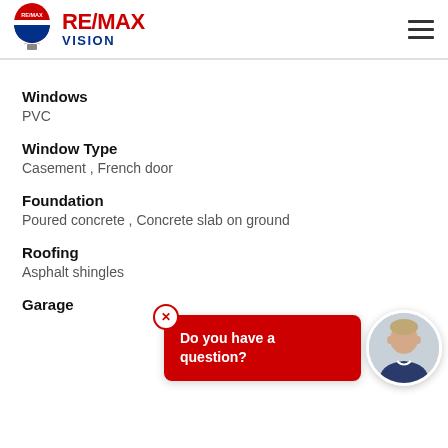[Figure (logo): RE/MAX Vision logo with hot air balloon and brand name]
Windows
PVC
Window Type
Casement , French door
Foundation
Poured concrete , Concrete slab on ground
Roofing
Asphalt shingles
Garage
[Figure (screenshot): Chat popup widget with red background saying 'Do you have a question?' and agent photo]